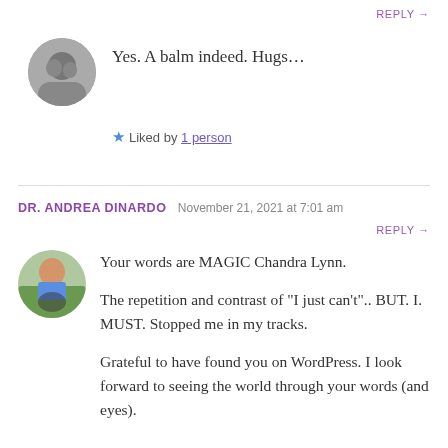REPLY →
Yes. A balm indeed. Hugs…
★ Liked by 1 person
DR. ANDREA DINARDO  November 21, 2021 at 7:01 am
REPLY →
Your words are MAGIC Chandra Lynn.

The repetition and contrast of "I just can't".. BUT. I. MUST. Stopped me in my tracks.

Grateful to have found you on WordPress. I look forward to seeing the world through your words (and eyes).